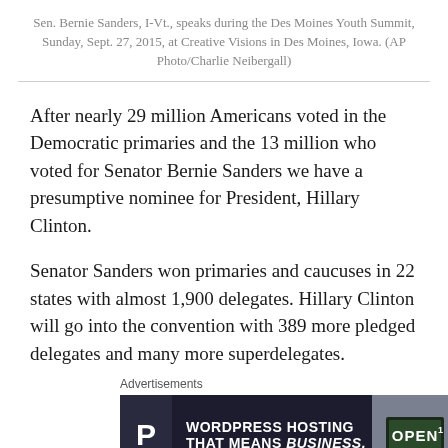Sen. Bernie Sanders, I-Vt., speaks during the Des Moines Youth Summit, Sunday, Sept. 27, 2015, at Creative Visions in Des Moines, Iowa. (AP Photo/Charlie Neibergall)
After nearly 29 million Americans voted in the Democratic primaries and the 13 million who voted for Senator Bernie Sanders we have a presumptive nominee for President, Hillary Clinton.
Senator Sanders won primaries and caucuses in 22 states with almost 1,900 delegates. Hillary Clinton will go into the convention with 389 more pledged delegates and many more superdelegates.
[Figure (other): Advertisement banner for WordPress hosting service showing a 'P' logo on dark background with text 'WORDPRESS HOSTING THAT MEANS BUSINESS.' and an OPEN sign image on the right]